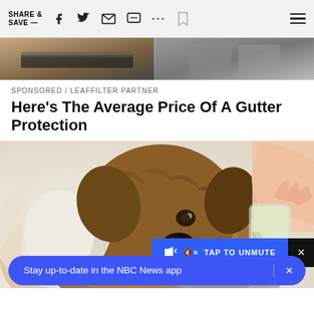SHARE & SAVE —
[Figure (photo): Partial view of a gutter/roof installation scene with tools visible]
SPONSORED / LEAFFILTER PARTNER
Here's The Average Price Of A Gutter Protection
[Figure (illustration): Illustrated image of a fluffy brown and white dog (resembling a Labradoodle) with tongue out, while a hand pours liquid into a bowl. An overlay reads TAP TO UNMUTE with a close button.]
Stay up-to-date in the NBC News app